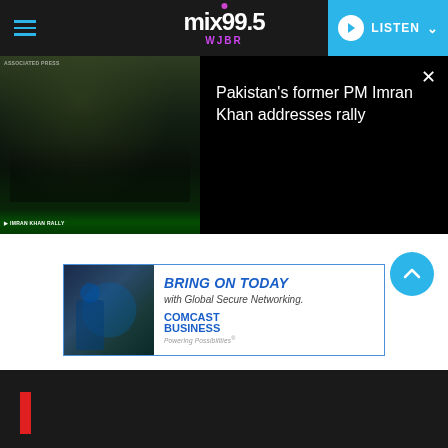mix99.5 WJBR — LISTEN
[Figure (screenshot): News video thumbnail showing a rally crowd with people on a stage, dark background with green tones. Ticker text at bottom of image.]
Pakistan's former PM Imran Khan addresses rally
[Figure (screenshot): Comcast Business advertisement: BRING ON TODAY with Global Secure Networking.]